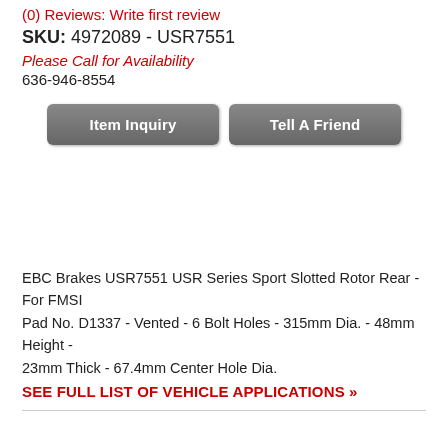(0) Reviews: Write first review
SKU: 4972089 - USR7551
Please Call for Availability
636-946-8554
Item Inquiry | Tell A Friend
EBC Brakes USR7551 USR Series Sport Slotted Rotor Rear - For FMSI Pad No. D1337 - Vented - 6 Bolt Holes - 315mm Dia. - 48mm Height - 23mm Thick - 67.4mm Center Hole Dia.
SEE FULL LIST OF VEHICLE APPLICATIONS »